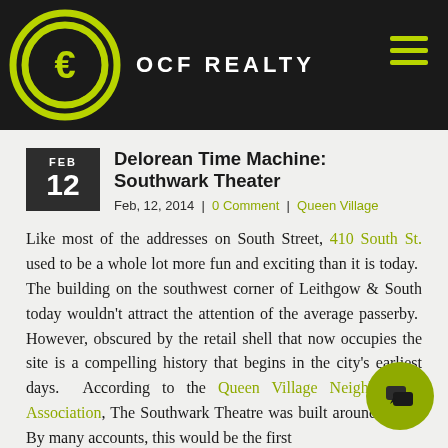OCF REALTY
Delorean Time Machine: Southwark Theater
Feb, 12, 2014  |  0 Comment  |  Queen Village
Like most of the addresses on South Street, 410 South St. used to be a whole lot more fun and exciting than it is today.  The building on the southwest corner of Leithgow & South today wouldn't attract the attention of the average passerby.  However, obscured by the retail shell that now occupies the site is a compelling history that begins in the city's earliest days.  According to the Queen Village Neighborhood Association, The Southwark Theatre was built around 1766.  By many accounts, this would be the first